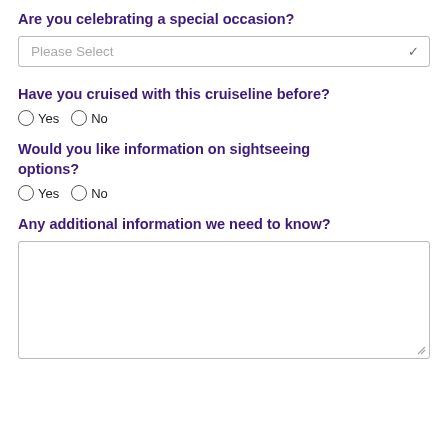Are you celebrating a special occasion?
Please Select
Have you cruised with this cruiseline before?
Yes  No
Would you like information on sightseeing options?
Yes  No
Any additional information we need to know?